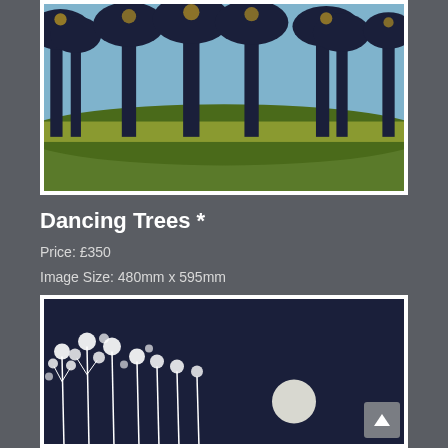[Figure (illustration): Painting of dark silhouetted trees with green and yellow grassy meadow foreground against a light blue sky background]
Dancing Trees *
Price: £350
Image Size: 480mm x 595mm
Edition Size: 70
Medium: Etching and Aquatint
[Figure (illustration): Dark navy blue etching showing white cow parsley flowers in foreground with a full moon visible in the night sky]